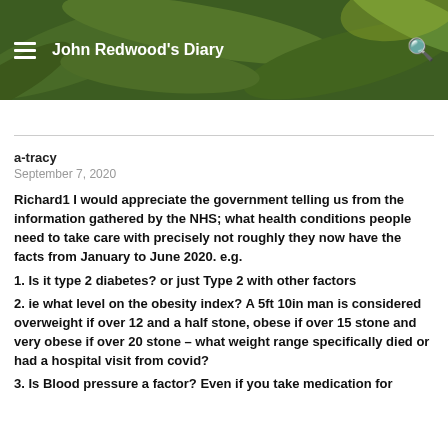John Redwood's Diary
a-tracy
September 7, 2020
Richard1 I would appreciate the government telling us from the information gathered by the NHS; what health conditions people need to take care with precisely not roughly they now have the facts from January to June 2020. e.g.
1. Is it type 2 diabetes? or just Type 2 with other factors
2. ie what level on the obesity index? A 5ft 10in man is considered overweight if over 12 and a half stone, obese if over 15 stone and very obese if over 20 stone – what weight range specifically died or had a hospital visit from covid?
3. Is Blood pressure a factor? Even if you take medication for